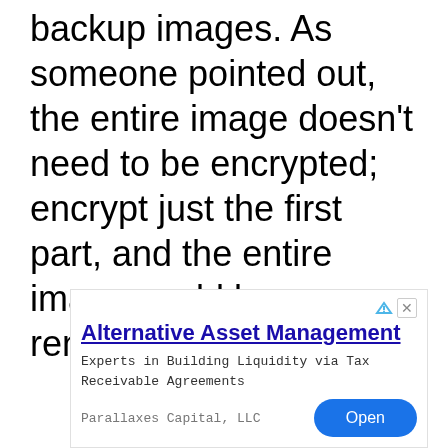backup images. As someone pointed out, the entire image doesn't need to be encrypted; encrypt just the first part, and the entire image could be rendered useless.
[Figure (other): Advertisement banner for 'Alternative Asset Management' by Parallaxes Capital, LLC. Contains title, body text about building liquidity via Tax Receivable Agreements, source name, and an 'Open' button.]